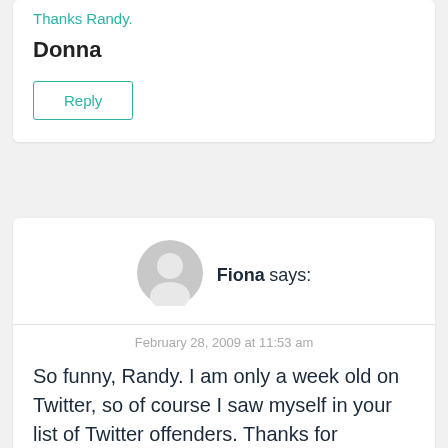Thanks Randy.
Donna
Reply
[Figure (illustration): Generic user avatar circle with silhouette]
Fiona says:
February 28, 2009 at 11:53 am
So funny, Randy. I am only a week old on Twitter, so of course I saw myself in your list of Twitter offenders. Thanks for